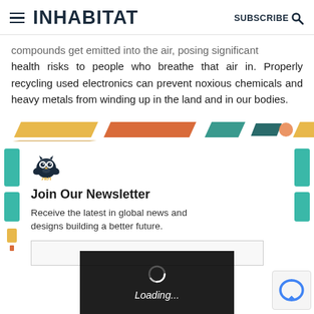INHABITAT   SUBSCRIBE
compounds get emitted into the air, posing significant health risks to people who breathe that air in. Properly recycling used electronics can prevent noxious chemicals and heavy metals from winding up in the land and in our bodies.
[Figure (infographic): Decorative colorful banner strip with parallelogram shapes in yellow, orange, teal, and dark teal colors]
[Figure (illustration): Owl logo icon for Inhabitat newsletter signup section with Join Our Newsletter heading, description text, and email input field]
[Figure (screenshot): Loading overlay with spinning indicator and 'Loading...' text in white italic on dark background]
[Figure (logo): reCAPTCHA badge in bottom right corner]